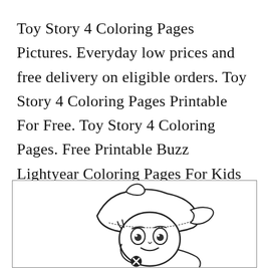Toy Story 4 Coloring Pages Pictures. Everyday low prices and free delivery on eligible orders. Toy Story 4 Coloring Pages Printable For Free. Toy Story 4 Coloring Pages. Free Printable Buzz Lightyear Coloring Pages For Kids Toy Story Coloring Pages Spiderman Coloring Coloring Books.
[Figure (illustration): A coloring page illustration showing a cartoon character (appears to be Woody from Toy Story) with a hat, wide eyes, and a cross/X symbol on the chest area, cropped at the bottom of the page inside a rectangular border.]